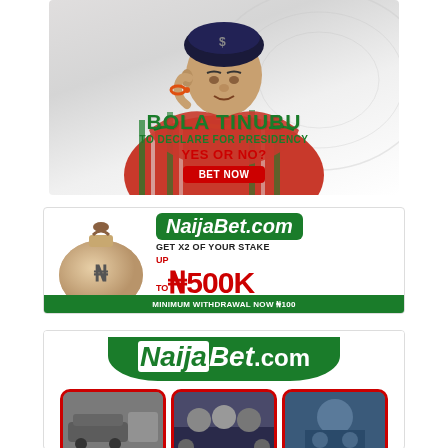[Figure (infographic): Advertisement for political betting: Bola Tinubu to declare for Presidency - Yes or No? Bet Now. Features photo of man in traditional Nigerian attire with a cap.]
[Figure (infographic): NaijaBet.com advertisement: Get x2 of your stake up to ₦500K if one game cuts your ticket. Minimum withdrawal now ₦100. Features money bag with N symbol.]
[Figure (infographic): NaijaBet.com advertisement with logo and hexagonal sports images at bottom.]